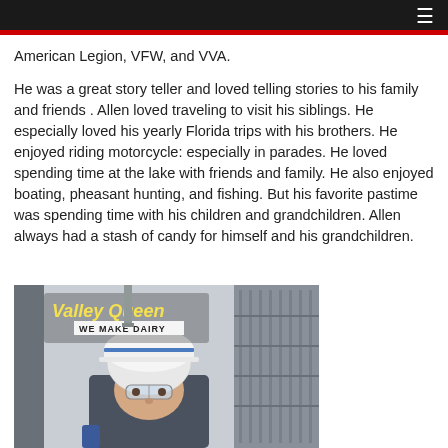≡
American Legion, VFW, and VVA.
He was a great story teller and loved telling stories to his family and friends . Allen loved traveling to visit his siblings. He especially loved his yearly Florida trips with his brothers. He enjoyed riding motorcycle: especially in parades. He loved spending time at the lake with friends and family. He also enjoyed boating, pheasant hunting, and fishing. But his favorite pastime was spending time with his children and grandchildren. Allen always had a stash of candy for himself and his grandchildren.
[Figure (photo): Person wearing white hard hat, hair net, and safety glasses inside a Valley Queen dairy facility. Valley Queen logo with 'WE MAKE DAIRY' text visible in upper left of photo.]